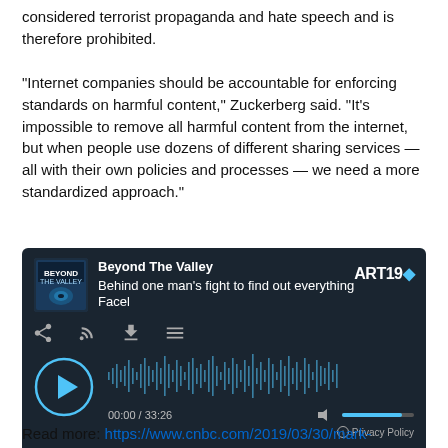considered terrorist propaganda and hate speech and is therefore prohibited.
"Internet companies should be accountable for enforcing standards on harmful content," Zuckerberg said. "It's impossible to remove all harmful content from the internet, but when people use dozens of different sharing services — all with their own policies and processes — we need a more standardized approach."
[Figure (screenshot): Embedded ART19 podcast player showing 'Beyond The Valley' episode titled 'Behind one man's fight to find out everything Facel', with play button, waveform, time display 00:00 / 33:26, volume control, and Privacy Policy link. Dark navy background.]
Read more: https://www.cnbc.com/2019/03/30/mark-